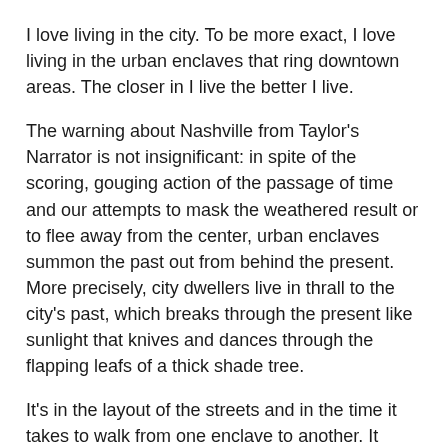I love living in the city. To be more exact, I love living in the urban enclaves that ring downtown areas. The closer in I live the better I live.
The warning about Nashville from Taylor's Narrator is not insignificant: in spite of the scoring, gouging action of the passage of time and our attempts to mask the weathered result or to flee away from the center, urban enclaves summon the past out from behind the present. More precisely, city dwellers live in thrall to the city's past, which breaks through the present like sunlight that knives and dances through the flapping leafs of a thick shade tree.
It's in the layout of the streets and in the time it takes to walk from one enclave to another. It emanates from the crumbling buttresses and infuses new houses built to look renovated. The past is real in the size of the yards and the half-conscious reference to the river. It's a warehouse turned lofts. It's the other side of now out-of-service tracks and of older racial divides. The past warns us in continuing partisan struggle between rival factions. However, it's also a keen